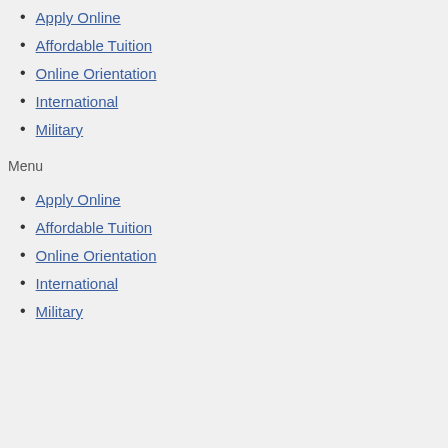Apply Online
Affordable Tuition
Online Orientation
International
Military
Menu
Apply Online
Affordable Tuition
Online Orientation
International
Military